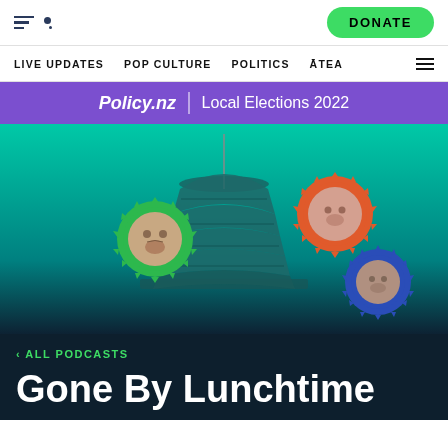DONATE
LIVE UPDATES  POP CULTURE  POLITICS  ĀTEA
[Figure (infographic): Purple banner with Policy.nz | Local Elections 2022 text]
[Figure (photo): Hero image featuring New Zealand Beehive parliament building on teal background, with three circular portrait photos of podcast hosts outlined by spiked/sun-burst borders in green, orange/red, and blue]
< ALL PODCASTS
Gone By Lunchtime